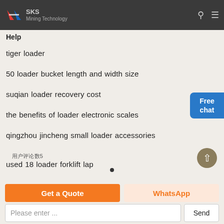SKS Mining Technology
Help
tiger loader
50 loader bucket length and width size
suqian loader recovery cost
the benefits of loader electronic scales
qingzhou jincheng small loader accessories
用户评论数5
used 18 loader forklift lap
Free chat
Get a Quote
WhatsApp
Please enter ...
Send